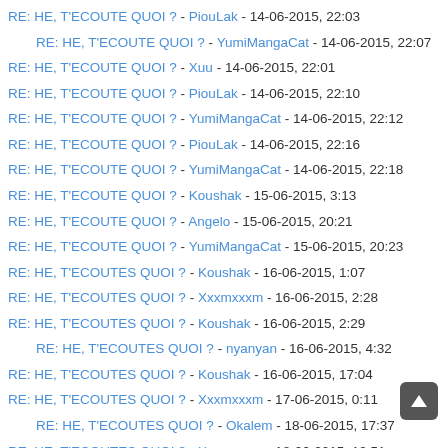RE: HE, T'ECOUTE QUOI ? - PiouLak - 14-06-2015, 22:03
RE: HE, T'ECOUTE QUOI ? - YumiMangaCat - 14-06-2015, 22:07
RE: HE, T'ECOUTE QUOI ? - Xuu - 14-06-2015, 22:01
RE: HE, T'ECOUTE QUOI ? - PiouLak - 14-06-2015, 22:10
RE: HE, T'ECOUTE QUOI ? - YumiMangaCat - 14-06-2015, 22:12
RE: HE, T'ECOUTE QUOI ? - PiouLak - 14-06-2015, 22:16
RE: HE, T'ECOUTE QUOI ? - YumiMangaCat - 14-06-2015, 22:18
RE: HE, T'ECOUTE QUOI ? - Koushak - 15-06-2015, 3:13
RE: HE, T'ECOUTE QUOI ? - Angelo - 15-06-2015, 20:21
RE: HE, T'ECOUTE QUOI ? - YumiMangaCat - 15-06-2015, 20:23
RE: HE, T'ECOUTES QUOI ? - Koushak - 16-06-2015, 1:07
RE: HE, T'ECOUTES QUOI ? - Xxxmxxxm - 16-06-2015, 2:28
RE: HE, T'ECOUTES QUOI ? - Koushak - 16-06-2015, 2:29
RE: HE, T'ECOUTES QUOI ? - nyanyan - 16-06-2015, 4:32
RE: HE, T'ECOUTES QUOI ? - Koushak - 16-06-2015, 17:04
RE: HE, T'ECOUTES QUOI ? - Xxxmxxxm - 17-06-2015, 0:11
RE: HE, T'ECOUTES QUOI ? - Okalem - 18-06-2015, 17:37
RE: HE, T'ECOUTES QUOI ? - Xxxmxxxm - 18-06-2015, 19:51
RE: HE, T'ECOUTES QUOI ? - YumiMangaCat - 18-06-2015, 19:52
RE: HE, T'ECOUTES QUOI ? - Koushak - 18-06-2015, 20:54
RE: HE, T'ECOUTES QUOI ? - Xxxmxxxm - 19-06-2015, 0:37
RE: HE, T'ECOUTES QUOI ? - Zandred - 19-06-2015, 13:47
RE: HE, T'ECOUTES QUOI ? - OverMyCloud - 19-06-2015, 14:09